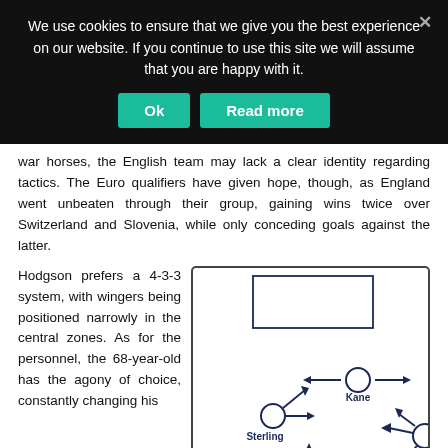We use cookies to ensure that we give you the best experience on our website. If you continue to use this site we will assume that you are happy with it.
Ok | Read more
war horses, the English team may lack a clear identity regarding tactics. The Euro qualifiers have given hope, though, as England went unbeaten through their group, gaining wins twice over Switzerland and Slovenia, while only conceding goals against the latter.
Hodgson prefers a 4-3-3 system, with wingers being positioned narrowly in the central zones. As for the personnel, the 68-year-old has the agony of choice, constantly changing his
[Figure (schematic): Football/soccer tactical formation diagram showing player positions with arrows indicating movement. Players shown: Kane (center, with left-right arrows), Sterling (left, with arrow pointing right), Lallana (right, with arrows), Rooney (bottom center, with arrow), and another player bottom right. Drawn in dark navy blue on white with circles representing players.]